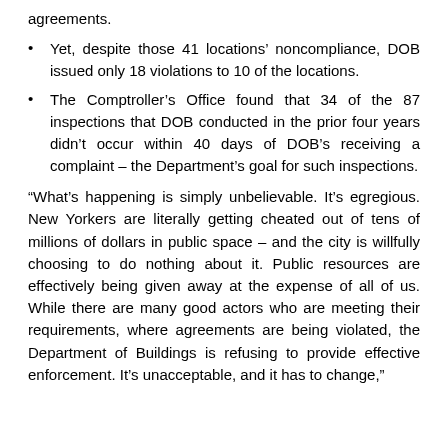agreements.
Yet, despite those 41 locations' noncompliance, DOB issued only 18 violations to 10 of the locations.
The Comptroller's Office found that 34 of the 87 inspections that DOB conducted in the prior four years didn't occur within 40 days of DOB's receiving a complaint – the Department's goal for such inspections.
“What’s happening is simply unbelievable. It’s egregious. New Yorkers are literally getting cheated out of tens of millions of dollars in public space – and the city is willfully choosing to do nothing about it. Public resources are effectively being given away at the expense of all of us. While there are many good actors who are meeting their requirements, where agreements are being violated, the Department of Buildings is refusing to provide effective enforcement. It’s unacceptable, and it has to change,”